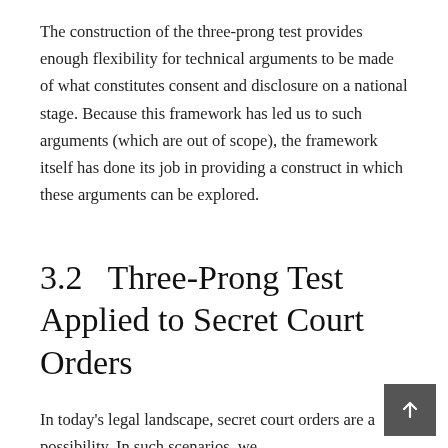The construction of the three-prong test provides enough flexibility for technical arguments to be made of what constitutes consent and disclosure on a national stage. Because this framework has led us to such arguments (which are out of scope), the framework itself has done its job in providing a construct in which these arguments can be explored.
3.2   Three-Prong Test Applied to Secret Court Orders
In today's legal landscape, secret court orders are a possibility. In such scenarios, we